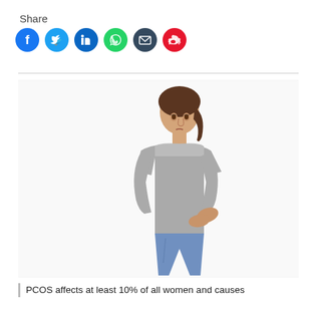Share
[Figure (infographic): Social share buttons: Facebook (dark blue), Twitter (light blue), LinkedIn (dark blue), WhatsApp (green), Email (dark blue/navy), Weibo (red)]
[Figure (photo): A young woman in a grey t-shirt and blue jeans hunching over, holding her abdomen with both hands, appearing to be in pain, against a white background.]
PCOS affects at least 10% of all women and causes